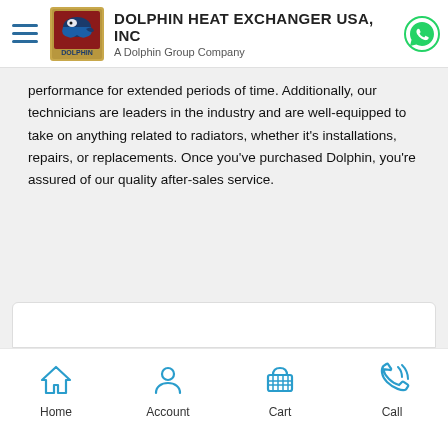DOLPHIN HEAT EXCHANGER USA, INC — A Dolphin Group Company
performance for extended periods of time. Additionally, our technicians are leaders in the industry and are well-equipped to take on anything related to radiators, whether it's installations, repairs, or replacements. Once you've purchased Dolphin, you're assured of our quality after-sales service.
Home | Account | Cart | Call